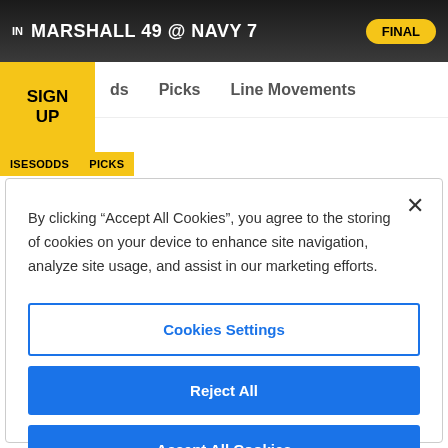IN MARSHALL 49 @ NAVY 7 FINAL
ds   Picks   Line Movements
SIGN UP
ISESODDS   PICKS
Saturday 4:00 PM ET
By clicking “Accept All Cookies”, you agree to the storing of cookies on your device to enhance site navigation, analyze site usage, and assist in our marketing efforts.
Cookies Settings
Reject All
Accept All Cookies